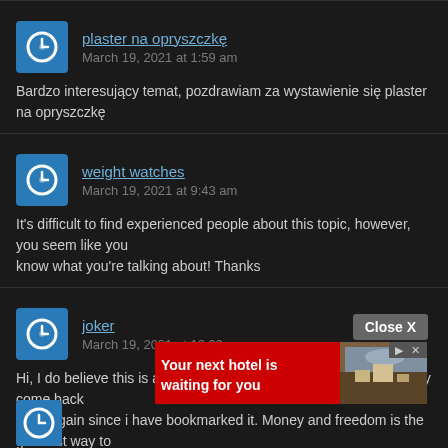plaster na opryszczkę
March 19, 2021 at 1:59 am
Bardzo interesujący temat, pozdrawiam za wystawienie się plaster na opryszczkę
weight watches
March 19, 2021 at 9:43 am
It's difficult to find experienced people about this topic, however, you seem like you know what you're talking about! Thanks
joker
March 19, 2021 at 12:39 pm
Hi, I do believe this is an excellent blog. I stumbledupon it 😊 I may come back once again since i have bookmarked it. Money and freedom is the greatest way to change, may you be rich and continue to help others.
[Figure (screenshot): Advertisement banner: 'Your next hotel is waiting for you' with hotel image on dark red background]
Close X